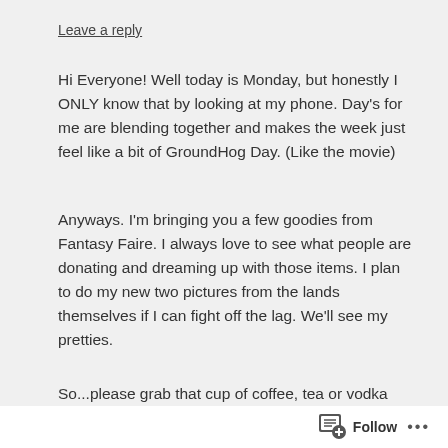Leave a reply
Hi Everyone! Well today is Monday, but honestly I ONLY know that by looking at my phone. Day's for me are blending together and makes the week just feel like a bit of GroundHog Day. (Like the movie)
Anyways. I'm bringing you a few goodies from Fantasy Faire. I always love to see what people are donating and dreaming up with those items. I plan to do my new two pictures from the lands themselves if I can fight off the lag. We'll see my pretties.
So...please grab that cup of coffee, tea or vodka and let's see....
What Blu is Wearing:
Follow ...